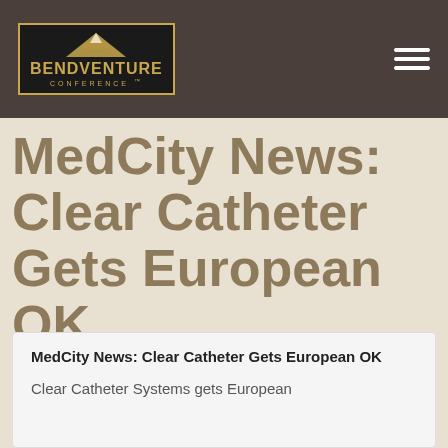[Figure (logo): BendVenture Conference logo in gold on dark background with mountain illustration]
MedCity News: Clear Catheter Gets European OK
MedCity News: Clear Catheter Gets European OK
Clear Catheter Systems gets European